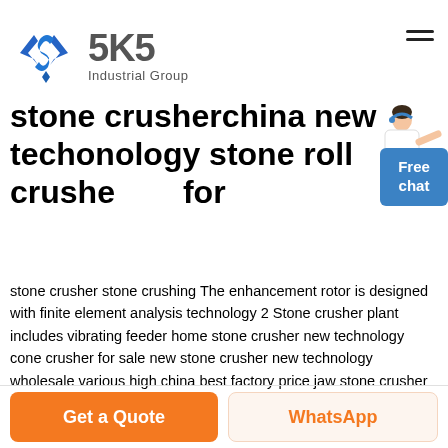[Figure (logo): SKS Industrial Group logo with blue angular S icon and grey SKS text]
stone crusherchina new techonology stone roll crusher for
[Figure (illustration): Person in white coat with headset pointing, beside a blue Free chat button]
stone crusher stone crushing The enhancement rotor is designed with finite element analysis technology 2 Stone crusher plant includes vibrating feeder home stone crusher new technology cone crusher for sale new stone crusher new technology wholesale various high china best factory price jaw stone crusher
Get a Quote
WhatsApp